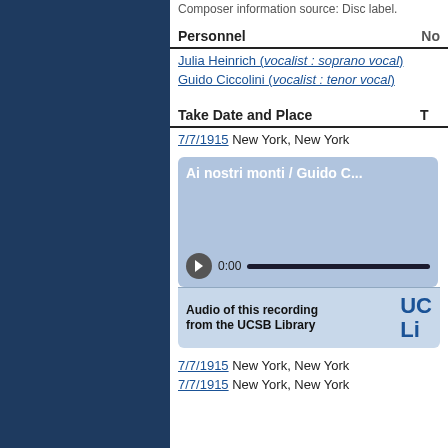Composer information source: Disc label.
Personnel
Julia Heinrich (vocalist : soprano vocal)
Guido Ciccolini (vocalist : tenor vocal)
Take Date and Place
7/7/1915 New York, New York
[Figure (screenshot): Audio player widget showing 'Ai nostri monti / Guido C...' with play button, 0:00 timestamp, progress bar, and UCSB Library audio link info panel]
7/7/1915 New York, New York
7/7/1915 New York, New York